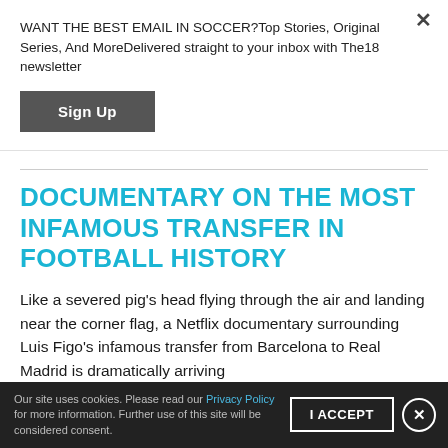WANT THE BEST EMAIL IN SOCCER?Top Stories, Original Series, And MoreDelivered straight to your inbox with The18 newsletter
Sign Up
DOCUMENTARY ON THE MOST INFAMOUS TRANSFER IN FOOTBALL HISTORY
Like a severed pig's head flying through the air and landing near the corner flag, a Netflix documentary surrounding Luis Figo's infamous transfer from Barcelona to Real Madrid is dramatically arriving
Our site uses cookies. Please read our Privacy Policy for more information. Further use of this site will be considered consent.
I ACCEPT